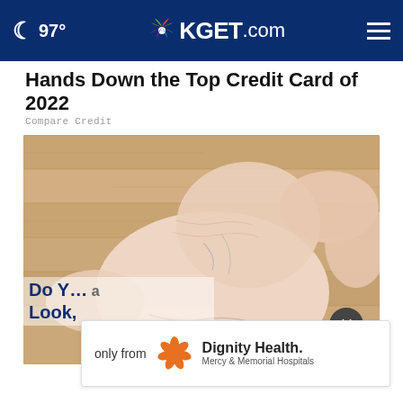97° KGET.com
Hands Down the Top Credit Card of 2022
Compare Credit
[Figure (photo): Close-up photo of a person's bare foot and heel being held, showing dry/aged skin texture, on a wooden floor background.]
Do Y... a Look,
[Figure (logo): Dignity Health. Mercy & Memorial Hospitals advertisement banner with orange floral logo, text: only from Dignity Health. Mercy & Memorial Hospitals]